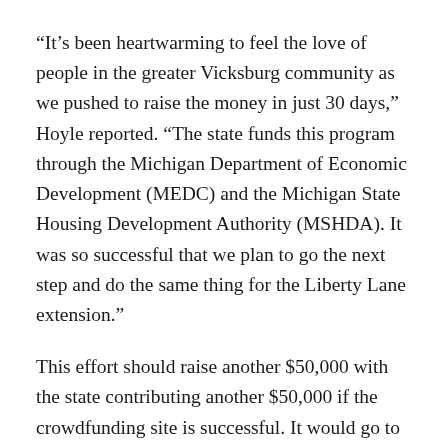“It’s been heartwarming to feel the love of people in the greater Vicksburg community as we pushed to raise the money in just 30 days,” Hoyle reported. “The state funds this program through the Michigan Department of Economic Development (MEDC) and the Michigan State Housing Development Authority (MSHDA). It was so successful that we plan to go the next step and do the same thing for the Liberty Lane extension.”
This effort should raise another $50,000 with the state contributing another $50,000 if the crowdfunding site is successful. It would go to re-make the alleyway between Jaspare’s and Aaron’s Music Shop. When completed, the Liberty Lane East would resemble its opposite alleyway between Hill’s Pharmacy and the Vicksburg Hardware store. This area was developed in the early 1980s through the efforts of Grace Appell, June Hill, Tim Moore and their gang of planters and